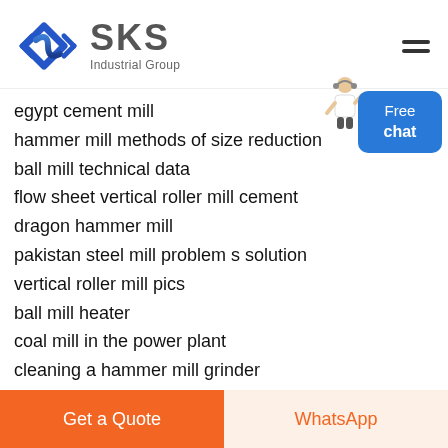[Figure (logo): SKS Industrial Group logo with blue diamond/arrow icon and grey SKS text]
egypt cement mill
hammer mill methods of size reduction
ball mill technical data
flow sheet vertical roller mill cement
dragon hammer mill
pakistan steel mill problem s solution
vertical roller mill pics
ball mill heater
coal mill in the power plant
cleaning a hammer mill grinder
Get a Quote   WhatsApp